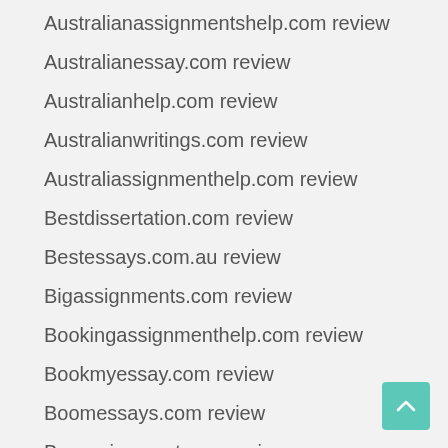Australianassignmentshelp.com review
Australianessay.com review
Australianhelp.com review
Australianwritings.com review
Australiassignmenthelp.com review
Bestdissertation.com review
Bestessays.com.au review
Bigassignments.com review
Bookingassignmenthelp.com review
Bookmyessay.com review
Boomessays.com review
Buyassignment.com review
Buyassignmentservice.com review
Buyessayonline.org review
Buyessays.com.au review
Casestudyhelp.com review